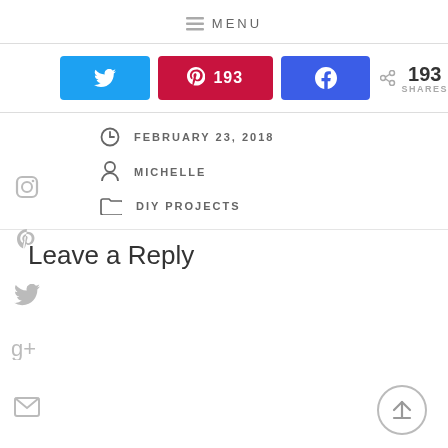MENU
[Figure (infographic): Social share buttons: Twitter, Pinterest (193), Facebook, and a share count showing 193 SHARES]
FEBRUARY 23, 2018
MICHELLE
DIY PROJECTS
Leave a Reply